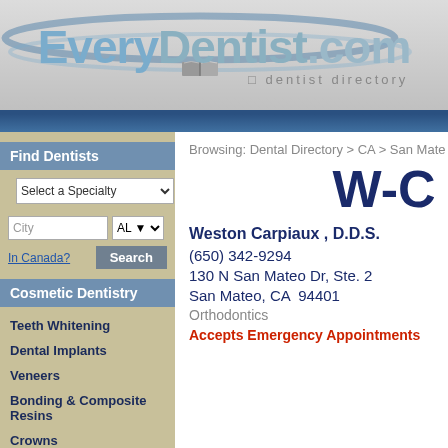[Figure (logo): EveryDentist.com dentist directory logo with blue swoosh and open book icon]
Find Dentists
Select a Specialty dropdown
City input, AL state dropdown
In Canada? Search
Cosmetic Dentistry
Teeth Whitening
Dental Implants
Veneers
Bonding & Composite Resins
Crowns
Gum Reshaping & Gum
Browsing: Dental Directory > CA > San Mate
W-C
Weston Carpiaux , D.D.S.
(650) 342-9294
130 N San Mateo Dr, Ste. 2
San Mateo, CA  94401
Orthodontics
Accepts Emergency Appointments